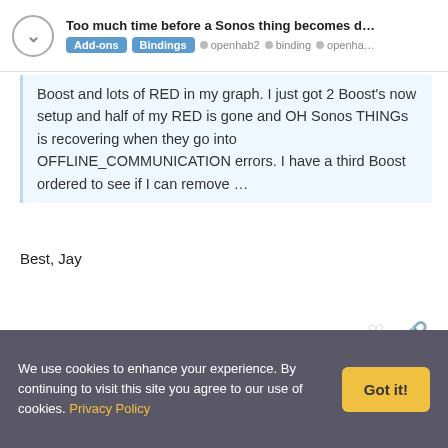Too much time before a Sonos thing becomes d... | Add-ons | Bindings | openhab2 | binding | openha...
Boost and lots of RED in my graph. I just got 2 Boost's now setup and half of my RED is gone and OH Sonos THINGs is recovering when they go into OFFLINE_COMMUNICATION errors. I have a third Boost ordered to see if I can remove …
Best, Jay
2 MONTHS LATER
morph166955
B R
Feb '20
We use cookies to enhance your experience. By continuing to visit this site you agree to our use of cookies. Privacy Policy